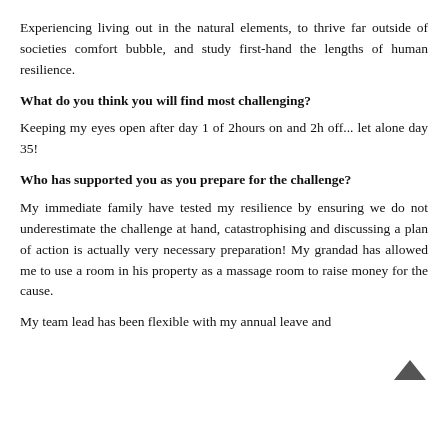Experiencing living out in the natural elements, to thrive far outside of societies comfort bubble, and study first-hand the lengths of human resilience.
What do you think you will find most challenging?
Keeping my eyes open after day 1 of 2hours on and 2h off... let alone day 35!
Who has supported you as you prepare for the challenge?
My immediate family have tested my resilience by ensuring we do not underestimate the challenge at hand, catastrophising and discussing a plan of action is actually very necessary preparation! My grandad has allowed me to use a room in his property as a massage room to raise money for the cause.
My team lead has been flexible with my annual leave and